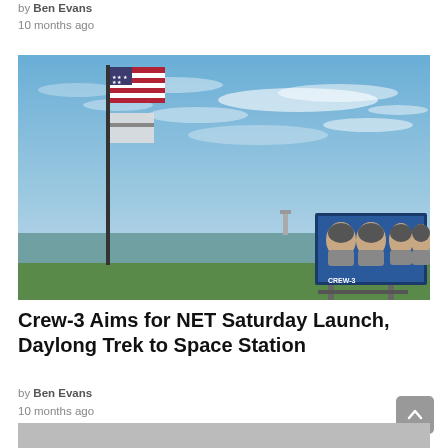by Ben Evans
10 months ago
[Figure (photo): Outdoor scene showing a flagpole with an American flag and another flag against a blue sky with wispy clouds. In the middle distance is a body of water and treeline. In the foreground-right is a billboard displaying four astronauts in spacesuits (Crew-3 mission).]
Crew-3 Aims for NET Saturday Launch, Daylong Trek to Space Station
by Ben Evans
10 months ago